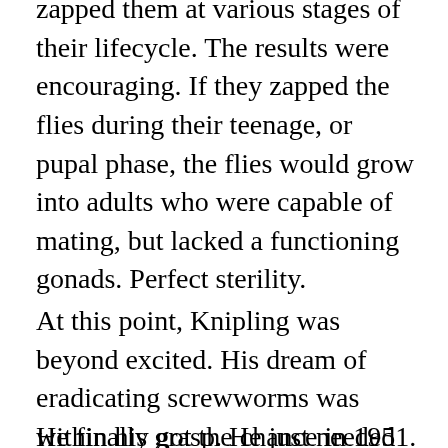zapped them at various stages of their lifecycle. The results were encouraging. If they zapped the flies during their teenage, or pupal phase, the flies would grow into adults who were capable of mating, but lacked a functioning gonads. Perfect sterility.
At this point, Knipling was beyond excited. His dream of eradicating screwworms was within his grasp. He just needed to confirm things with a real-world test.
He finally got the chance in 1951. And it turned out to be a complete flan